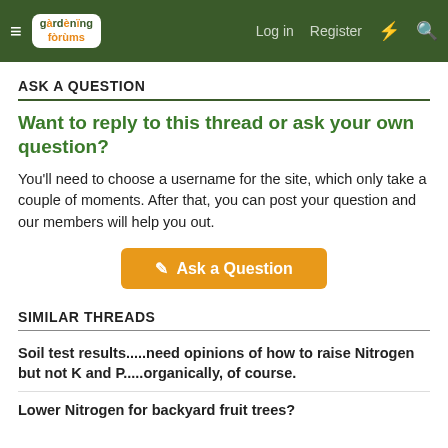gardening forums — Log in  Register
ASK A QUESTION
Want to reply to this thread or ask your own question?
You'll need to choose a username for the site, which only take a couple of moments. After that, you can post your question and our members will help you out.
Ask a Question
SIMILAR THREADS
Soil test results.....need opinions of how to raise Nitrogen but not K and P.....organically, of course.
Lower Nitrogen for backyard fruit trees?